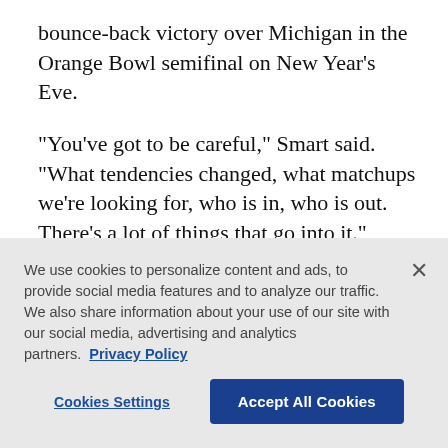bounce-back victory over Michigan in the Orange Bowl semifinal on New Year's Eve.
“You’ve got to be careful,” Smart said. “What tendencies changed, what matchups we’re looking for, who is in, who is out. There’s a lot of things that go into it.”
There are a couple of reasons why a second meeting during the same season can be so much different than the first.
We use cookies to personalize content and ads, to provide social media features and to analyze our traffic. We also share information about your use of our site with our social media, advertising and analytics partners. Privacy Policy
Cookies Settings
Accept All Cookies